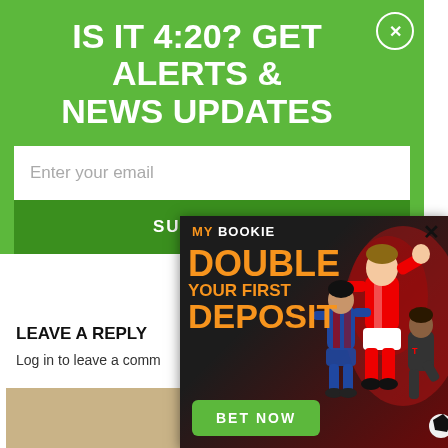IS IT 4:20? GET ALERTS & NEWS UPDATES
Enter your email
SUBSCRIBE
LEAVE A REPLY
Log in to leave a comment
[Figure (screenshot): MyBookie advertisement popup showing 'DOUBLE YOUR FIRST DEPOSIT' in orange text with soccer players in the background and a green 'BET NOW' button. Close button (×) in top right corner.]